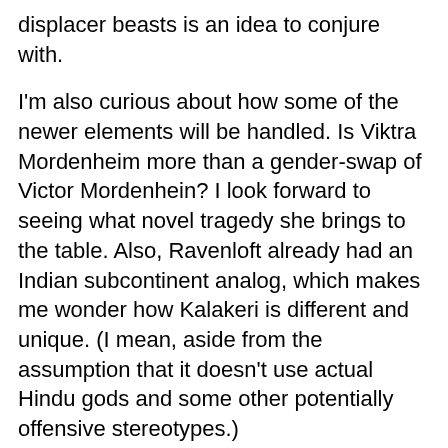displacer beasts is an idea to conjure with.
I'm also curious about how some of the newer elements will be handled. Is Viktra Mordenheim more than a gender-swap of Victor Mordenhein? I look forward to seeing what novel tragedy she brings to the table. Also, Ravenloft already had an Indian subcontinent analog, which makes me wonder how Kalakeri is different and unique. (I mean, aside from the assumption that it doesn't use actual Hindu gods and some other potentially offensive stereotypes.)
Edited to add Polygon's article put names to domains with a little additional flavor information:
Dementlieu, ruled by the cruel Saidra díHonaire, is a twisted take on the fairy tale genre. Lamordia is home to Dr. Viktra Mordenheim, who chases her escaped flesh golem, Elise, across the land. Falkovnia has a new ruler named Vladeska Drakov and has been reimagined as a realm on